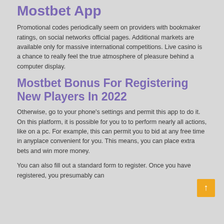Mostbet App
Promotional codes periodically seem on providers with bookmaker ratings, on social networks official pages. Additional markets are available only for massive international competitions. Live casino is a chance to really feel the true atmosphere of pleasure behind a computer display.
Mostbet Bonus For Registering New Players In 2022
Otherwise, go to your phone's settings and permit this app to do it. On this platform, it is possible for you to to perform nearly all actions, like on a pc. For example, this can permit you to bid at any free time in anyplace convenient for you. This means, you can place extra bets and win more money.
You can also fill out a standard form to register. Once you have registered, you presumably can